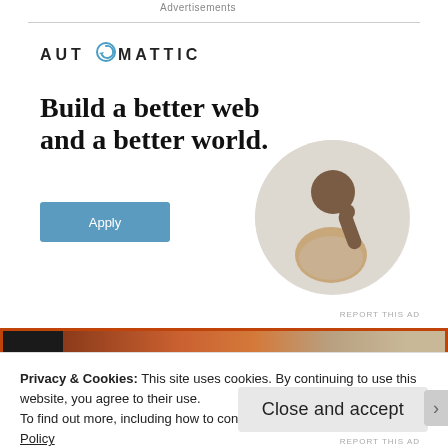Advertisements
[Figure (logo): Automattic company logo with circular arrow through letter O]
Build a better web and a better world.
[Figure (illustration): Apply button (blue rectangle with white text 'Apply')]
[Figure (photo): Circular portrait photo of a man sitting at a desk, thinking with hand on chin]
REPORT THIS AD
[Figure (photo): Food photograph strip with dark and warm-toned food items on orange background]
Privacy & Cookies: This site uses cookies. By continuing to use this website, you agree to their use.
To find out more, including how to control cookies, see here: Cookie Policy
Close and accept
REPORT THIS AD